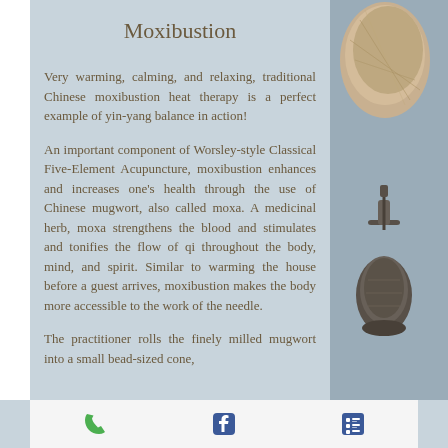Moxibustion
Very warming, calming, and relaxing, traditional Chinese moxibustion heat therapy is a perfect example of yin-yang balance in action!
An important component of Worsley-style Classical Five-Element Acupuncture, moxibustion enhances and increases one's health through the use of Chinese mugwort, also called moxa. A medicinal herb, moxa strengthens the blood and stimulates and tonifies the flow of qi throughout the body, mind, and spirit. Similar to warming the house before a guest arrives, moxibustion makes the body more accessible to the work of the needle.
The practitioner rolls the finely milled mugwort into a small bead-sized cone,
[Figure (photo): Photo of moxa/lantern items on right side of page]
Phone icon | Facebook icon | Menu icon